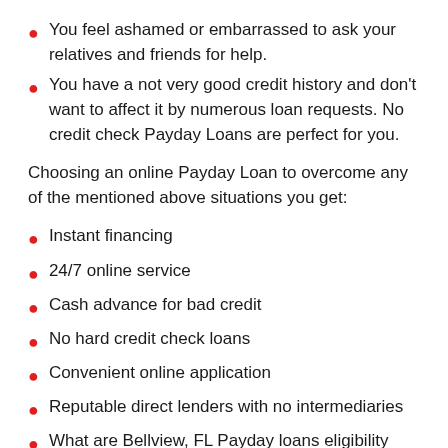You feel ashamed or embarrassed to ask your relatives and friends for help.
You have a not very good credit history and don't want to affect it by numerous loan requests. No credit check Payday Loans are perfect for you.
Choosing an online Payday Loan to overcome any of the mentioned above situations you get:
Instant financing
24/7 online service
Cash advance for bad credit
No hard credit check loans
Convenient online application
Reputable direct lenders with no intermediaries
What are Bellview, FL Payday loans eligibility criteria?
To be approved for a short-term cash advance a borrower needs to: